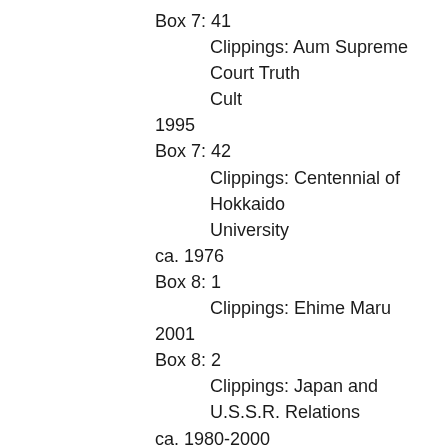Box 7: 41
Clippings: Aum Supreme Court Truth Cult
1995
Box 7: 42
Clippings: Centennial of Hokkaido University
ca. 1976
Box 8: 1
Clippings: Ehime Maru
2001
Box 8: 2
Clippings: Japan and U.S.S.R. Relations
ca. 1980-2000
Box 8: 3
Clippings: Japan Constitution
ca. 1950-2000
Box 8: 4
Clippings: Japan Foreign Relations
ca. 1989-2003